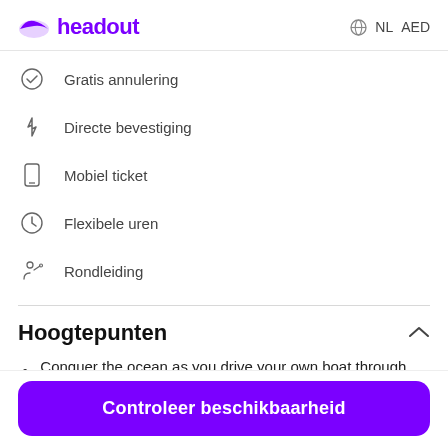headout  NL  AED
Gratis annulering
Directe bevestiging
Mobiel ticket
Flexibele uren
Rondleiding
Hoogtepunten
Conquer the ocean as you drive your own boat through the serene waters of the Arabian Gulf.
Controleer beschikbaarheid